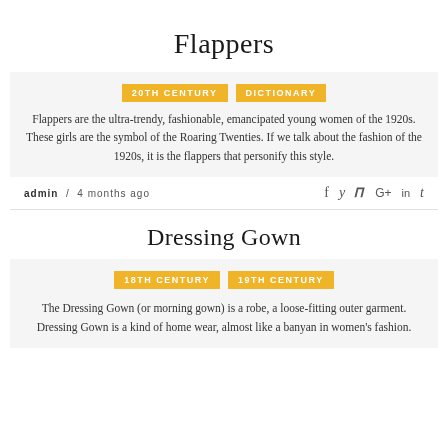Flappers
20TH CENTURY   DICTIONARY
Flappers are the ultra-trendy, fashionable, emancipated young women of the 1920s. These girls are the symbol of the Roaring Twenties. If we talk about the fashion of the 1920s, it is the flappers that personify this style.
admin / 4 months ago
Dressing Gown
18TH CENTURY   19TH CENTURY
The Dressing Gown (or morning gown) is a robe, a loose-fitting outer garment. Dressing Gown is a kind of home wear, almost like a banyan in women's fashion.